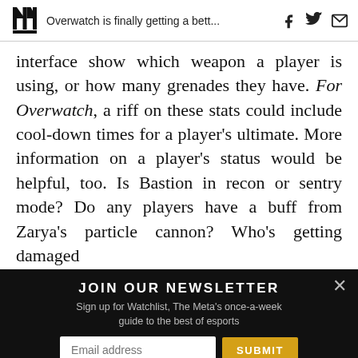Overwatch is finally getting a bett...
interface show which weapon a player is using, or how many grenades they have. For Overwatch, a riff on these stats could include cool-down times for a player’s ultimate. More information on a player’s status would be helpful, too. Is Bastion in recon or sentry mode? Do any players have a buff from Zarya’s particle cannon? Who’s getting damaged boosted—or empowered—by Mercy?
JOIN OUR NEWSLETTER
Sign up for Watchlist, The Meta’s once-a-week guide to the best of esports
Email address SUBMIT